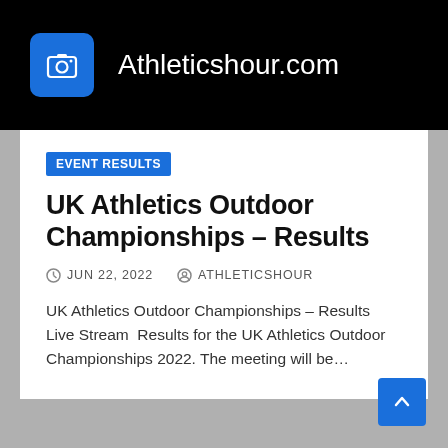Athleticshour.com
EVENT RESULTS
UK Athletics Outdoor Championships – Results
JUN 22, 2022   ATHLETICSHOUR
UK Athletics Outdoor Championships – Results Live Stream  Results for the UK Athletics Outdoor Championships 2022. The meeting will be…